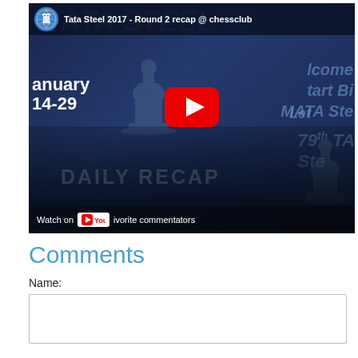[Figure (screenshot): YouTube video thumbnail/embed showing 'Tata Steel 2017 - Round 2 recap @ chessclub' with chess logo, blue-tinted collage background with 'January 14-29' text, red YouTube play button in center, and bottom bar showing 'Watch on YouTube' and 'ivorite commentators'. People visible in lower portion.]
Comments
Name: